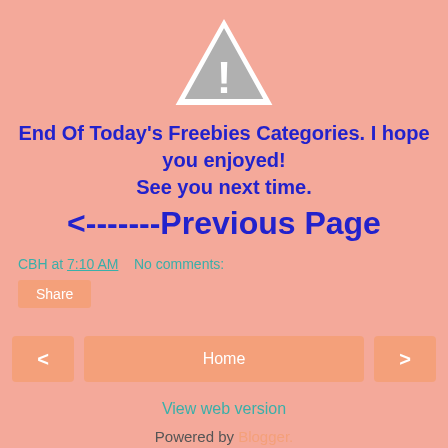[Figure (illustration): Warning triangle icon with exclamation mark, gray/white colored]
End Of Today's Freebies Categories. I hope you enjoyed! See you next time.
<-------Previous Page
CBH at 7:10 AM    No comments:
Share
< Home >
View web version
Powered by Blogger.